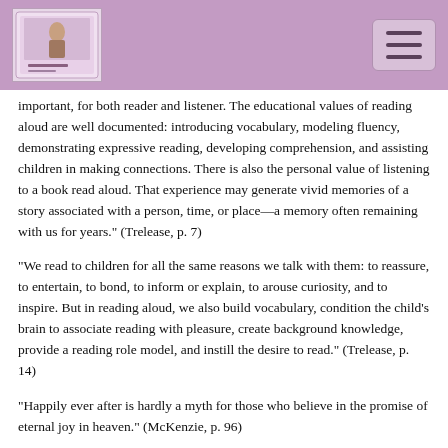important, for both reader and listener. The educational values of reading aloud are well documented: introducing vocabulary, modeling fluency, demonstrating expressive reading, developing comprehension, and assisting children in making connections. There is also the personal value of listening to a book read aloud. That experience may generate vivid memories of a story associated with a person, time, or place—a memory often remaining with us for years.” (Trelease, p. 7)
“We read to children for all the same reasons we talk with them: to reassure, to entertain, to bond, to inform or explain, to arouse curiosity, and to inspire. But in reading aloud, we also build vocabulary, condition the child’s brain to associate reading with pleasure, create background knowledge, provide a reading role model, and instill the desire to read.” (Trelease, p. 14)
“Happily ever after is hardly a myth for those who believe in the promise of eternal joy in heaven.” (McKenzie, p. 96)
“If we tell them enough stories, they will have encountered hard questions and practiced living through so many trials,